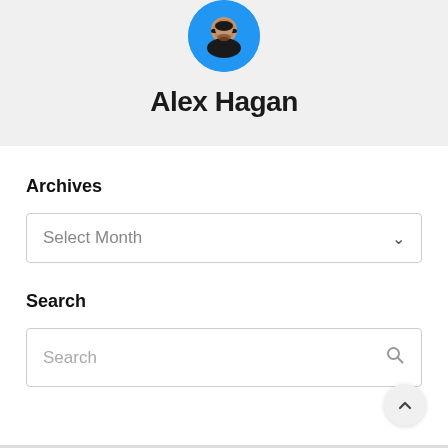[Figure (photo): Circular avatar photo of Alex Hagan on a blue background]
Alex Hagan
Archives
Select Month
Search
Search